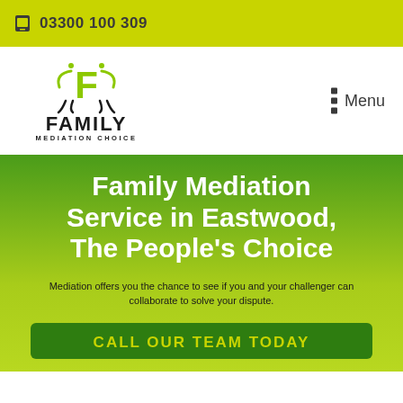03300 100 309
[Figure (logo): Family Mediation Choice logo with stylized green F and figures, text FAMILY MEDIATION CHOICE]
Family Mediation Service in Eastwood, The People's Choice
Mediation offers you the chance to see if you and your challenger can collaborate to solve your dispute.
CALL OUR TEAM TODAY